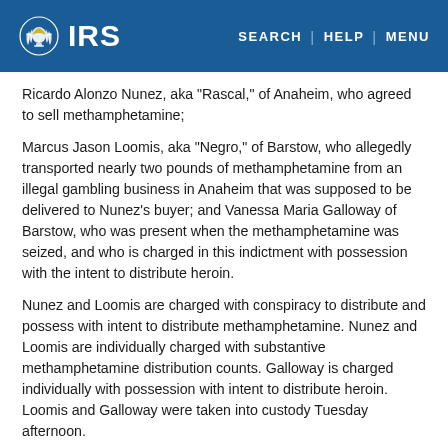IRS | SEARCH | HELP | MENU
Ricardo Alonzo Nunez, aka "Rascal," of Anaheim, who agreed to sell methamphetamine;
Marcus Jason Loomis, aka "Negro," of Barstow, who allegedly transported nearly two pounds of methamphetamine from an illegal gambling business in Anaheim that was supposed to be delivered to Nunez's buyer; and Vanessa Maria Galloway of Barstow, who was present when the methamphetamine was seized, and who is charged in this indictment with possession with the intent to distribute heroin.
Nunez and Loomis are charged with conspiracy to distribute and possess with intent to distribute methamphetamine. Nunez and Loomis are individually charged with substantive methamphetamine distribution counts. Galloway is charged individually with possession with intent to distribute heroin. Loomis and Galloway were taken into custody Tuesday afternoon.
An indictment contains allegations that a defendant has